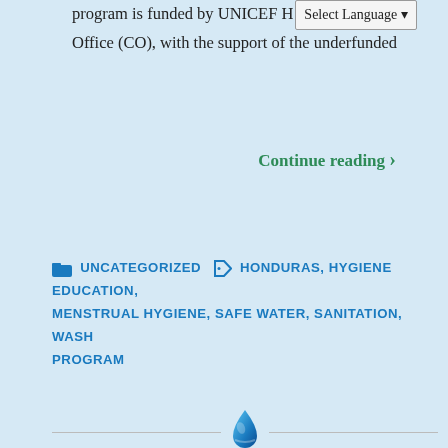program is funded by UNICEF H [Select Language] Office (CO), with the support of the underfunded
Continue reading ›
UNCATEGORIZED  HONDURAS, HYGIENE EDUCATION, MENSTRUAL HYGIENE, SAFE WATER, SANITATION, WASH PROGRAM
[Figure (photo): A woman standing inside a large photo-frame prop with 'PURE WATER FOR THE WORLD' banner, outdoors in a park-like setting with trees.]
Pure